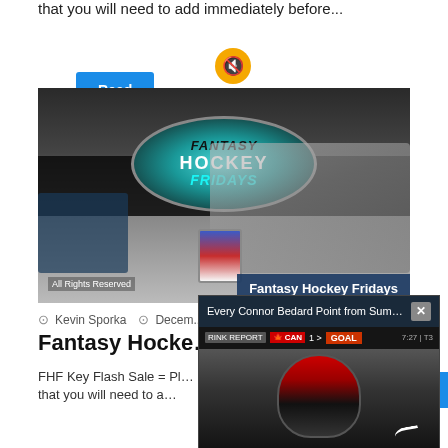that you will need to add immediately before...
Read More »
[Figure (photo): Fantasy Hockey Fridays banner image with logo oval, dark band, two people sitting, and watermark 'All Rights Reserved'. Overlay label reads 'Fantasy Hockey Fridays'.]
Kevin Sporka   Decem...
Fantasy Hocke...
FHF Key Flash Sale = Pl... that you will need to a...
Read More »
[Figure (screenshot): Video popup overlay with title 'Every Connor Bedard Point from Summ...' and close button X. Shows a hockey scoreboard bar reading 'CAN 1 > GOAL' and a player in a red hockey helmet and jersey.]